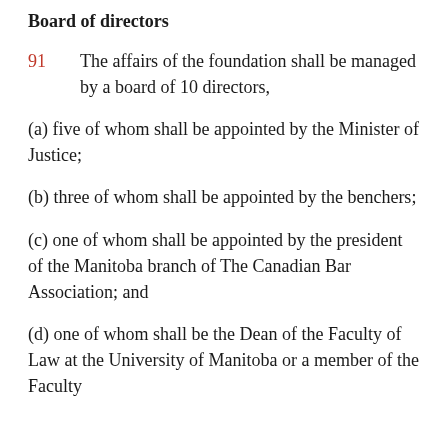Board of directors
91   The affairs of the foundation shall be managed by a board of 10 directors,
(a) five of whom shall be appointed by the Minister of Justice;
(b) three of whom shall be appointed by the benchers;
(c) one of whom shall be appointed by the president of the Manitoba branch of The Canadian Bar Association; and
(d) one of whom shall be the Dean of the Faculty of Law at the University of Manitoba or a member of the Faculty